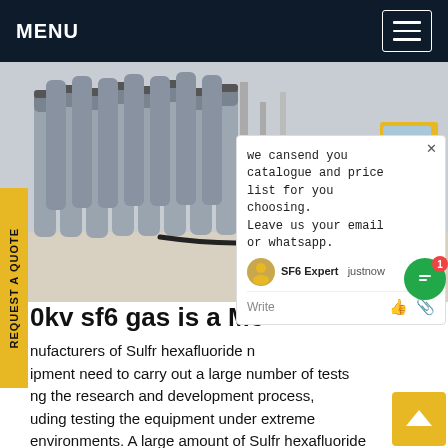MENU
[Figure (photo): Rows of large gray industrial gas cylinders (SF6/Sulfr hexafluoride) lined up outdoors, with a yellow truck and industrial facility in the background.]
we cansend you catalogue and price list for you choosing. Leave us your email or whatsapp.
0kv sf6 gas is a Me
nufacturers of Sulfr hexafluoride n ipment need to carry out a large number of tests ng the research and development process, uding testing the equipment under extreme environments. A large amount of Sulfr hexafluoride gases are used. We provide them with a full set environmental recycling solution, It is safer and efficient for massGet price.